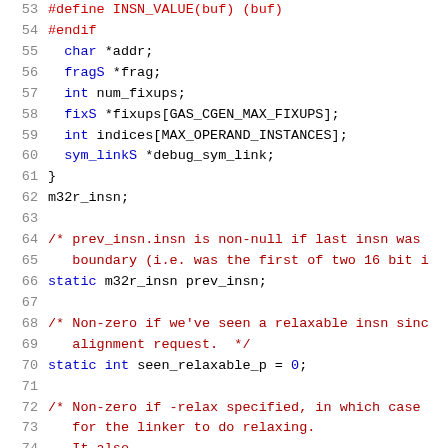53  #define INSN_VALUE(buf) (buf)
54  #endif
55    char *addr;
56    fragS *frag;
57    int num_fixups;
58    fixS *fixups[GAS_CGEN_MAX_FIXUPS];
59    int indices[MAX_OPERAND_INSTANCES];
60    sym_linkS *debug_sym_link;
61  }
62  m32r_insn;
63
64  /* prev_insn.insn is non-null if last insn was
65     boundary (i.e. was the first of two 16 bit i
66  static m32r_insn prev_insn;
67
68  /* Non-zero if we've seen a relaxable insn sinc
69     alignment request.  */
70  static int seen_relaxable_p = 0;
71
72  /* Non-zero if -relax specified, in which case
73     for the linker to do relaxing.
74     ...